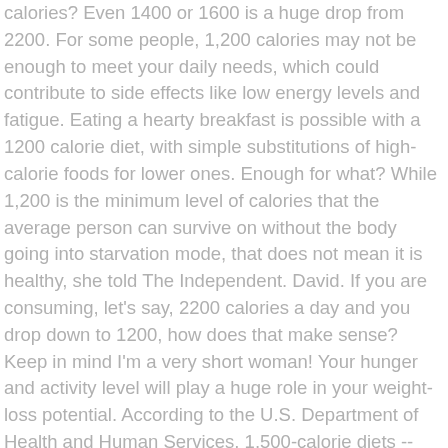calories? Even 1400 or 1600 is a huge drop from 2200. For some people, 1,200 calories may not be enough to meet your daily needs, which could contribute to side effects like low energy levels and fatigue. Eating a hearty breakfast is possible with a 1200 calorie diet, with simple substitutions of high-calorie foods for lower ones. Enough for what? While 1,200 is the minimum level of calories that the average person can survive on without the body going into starvation mode, that does not mean it is healthy, she told The Independent. David. If you are consuming, let's say, 2200 calories a day and you drop down to 1200, how does that make sense? Keep in mind I'm a very short woman! Your hunger and activity level will play a huge role in your weight-loss potential. According to the U.S. Department of Health and Human Services, 1,500-calorie diets -- more specifically, diets containing 1,200 to 1,600 calories per day -- are appropriate weight loss diets for women who weigh more than 164 pounds, active women who exercise regularly and most men. If you have reduced your calorie intake below 1,200 calories a day, you could be hurting your body and this may even slow down your metabolism over time.